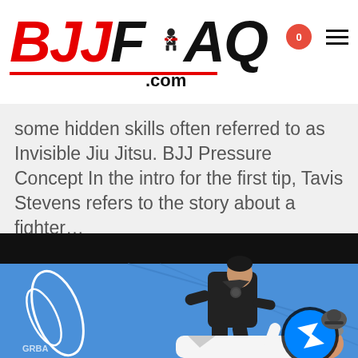BJJFAQ.com
some hidden skills often referred to as Invisible Jiu Jitsu. BJJ Pressure Concept In the intro for the first tip, Tavis Stevens refers to the story about a fighter…
[Figure (photo): Two BJJ practitioners on a blue mat, one in a dark gi applying a technique on another in a white gi, inside what appears to be a training facility.]